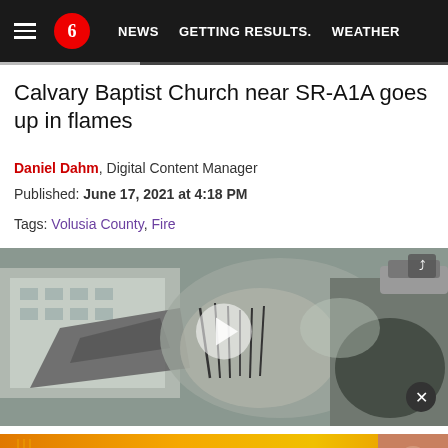NEWS | GETTING RESULTS. | WEATHER
Calvary Baptist Church near SR-A1A goes up in flames
Daniel Dahm, Digital Content Manager
Published: June 17, 2021 at 4:18 PM
Tags: Volusia County, Fire
[Figure (photo): Aerial video thumbnail showing Calvary Baptist Church fire scene with collapsed/burning structure and smoke. Play button overlay visible. Close button in bottom right corner.]
[Figure (infographic): Advertisement banner: GET INTO THE RHYTHM OF THE MORNINGS WITH News 6. Features Bridgett Ellison, Weekday Mornings 4:30A-7A. Orange gradient background with anchor photo.]